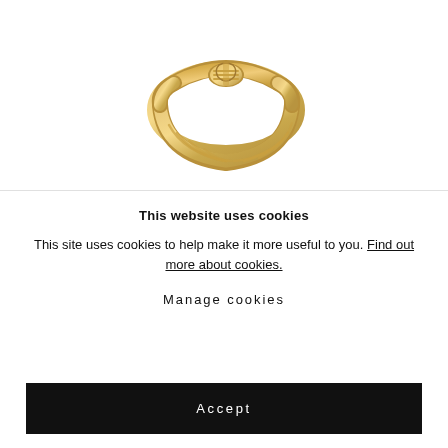[Figure (photo): Gold twisted rope knot ring on white background]
This website uses cookies
This site uses cookies to help make it more useful to you. Find out more about cookies.
Manage cookies
Accept